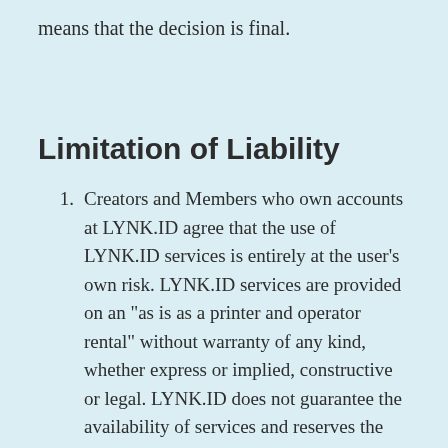means that the decision is final.
Limitation of Liability
1. Creators and Members who own accounts at LYNK.ID agree that the use of LYNK.ID services is entirely at the user's own risk. LYNK.ID services are provided on an "as is as a printer and operator rental" without warranty of any kind, whether express or implied, constructive or legal. LYNK.ID does not guarantee the availability of services and reserves the right to change, withdraw, suspend, or terminate any functions or features of LYNK.ID services. In any case LYNK.ID is not responsible for any direct or